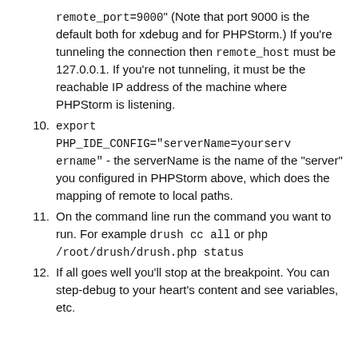(continuation) remote_port=9000" (Note that port 9000 is the default both for xdebug and for PHPStorm.) If you're tunneling the connection then remote_host must be 127.0.0.1. If you're not tunneling, it must be the reachable IP address of the machine where PHPStorm is listening.
10. export PHP_IDE_CONFIG="serverName=yourservername" - the serverName is the name of the "server" you configured in PHPStorm above, which does the mapping of remote to local paths.
11. On the command line run the command you want to run. For example drush cc all or php /root/drush/drush.php status
12. If all goes well you'll stop at the breakpoint. You can step-debug to your heart's content and see variables, etc.